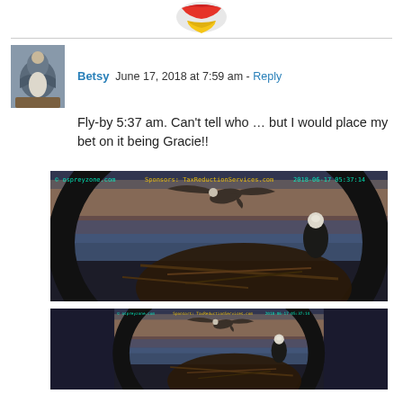[Figure (logo): Partial circular logo with red and yellow colors at top center]
Betsy  June 17, 2018 at 7:59 am - Reply
Fly-by 5:37 am. Can't tell who ... but I would place my bet on it being Gracie!!
[Figure (photo): Osprey nest camera screenshot from ospreyzone.com sponsored by TaxReductionServices.com, timestamp 2018-06-17 05:37:14, showing an osprey in flight with wings spread above a nest at dawn]
[Figure (photo): Second osprey nest camera screenshot from ospreyzone.com sponsored by TaxReductionServices.com, timestamp 2018-06-17 05:37:14, same scene, partially visible at bottom]